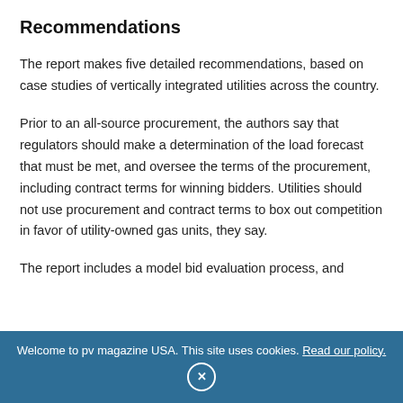Recommendations
The report makes five detailed recommendations, based on case studies of vertically integrated utilities across the country.
Prior to an all-source procurement, the authors say that regulators should make a determination of the load forecast that must be met, and oversee the terms of the procurement, including contract terms for winning bidders. Utilities should not use procurement and contract terms to box out competition in favor of utility-owned gas units, they say.
The report includes a model bid evaluation process, and
Welcome to pv magazine USA. This site uses cookies. Read our policy.